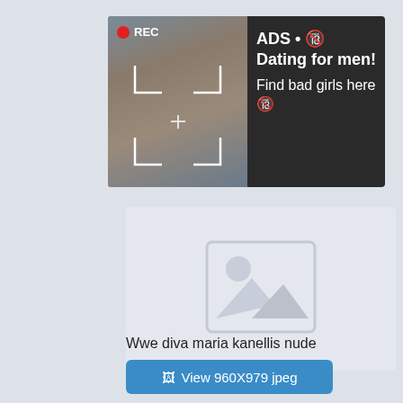[Figure (advertisement): Online dating advertisement banner with dark background showing a photo of a woman taking a selfie with a camera recording indicator (REC) overlay, alongside bold text: ADS • 🔞 Dating for men! Find bad girls here 🔞]
[Figure (photo): Placeholder image box with mountain and sun icon indicating a missing or loading image]
Wwe diva maria kanellis nude
View 960X979 jpeg